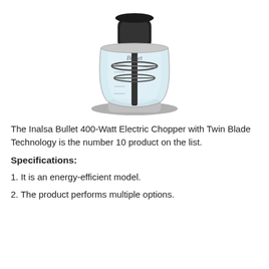[Figure (photo): Photo of the Inalsa Bullet 400-Watt Electric Chopper with Twin Blade Technology — a clear plastic chopping bowl with black blades and motor top, chrome base.]
The Inalsa Bullet 400-Watt Electric Chopper with Twin Blade Technology is the number 10 product on the list.
Specifications:
1. It is an energy-efficient model.
2. The product performs multiple options.